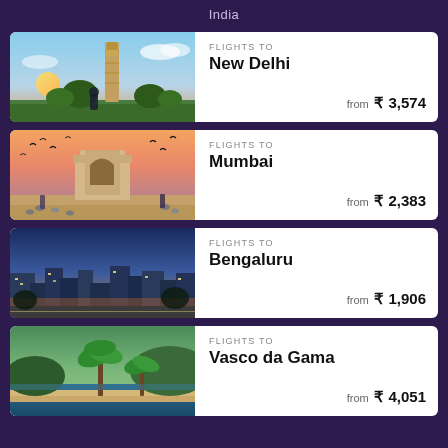India
FLIGHTS TO
New Delhi
from ₹ 3,574
FLIGHTS TO
Mumbai
from ₹ 2,383
FLIGHTS TO
Bengaluru
from ₹ 1,906
FLIGHTS TO
Vasco da Gama
from ₹ 4,051